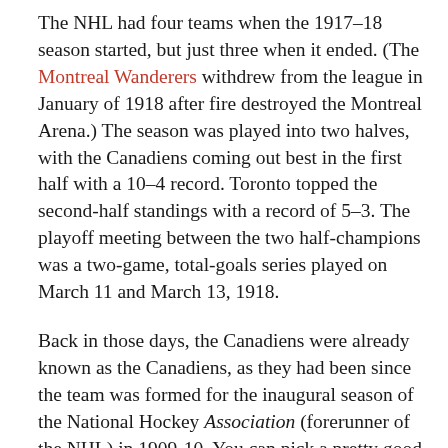The NHL had four teams when the 1917–18 season started, but just three when it ended. (The Montreal Wanderers withdrew from the league in January of 1918 after fire destroyed the Montreal Arena.) The season was played into two halves, with the Canadiens coming out best in the first half with a 10–4 record. Toronto topped the second-half standings with a record of 5–3. The playoff meeting between the two half-champions was a two-game, total-goals series played on March 11 and March 13, 1918.
Back in those days, the Canadiens were already known as the Canadiens, as they had been since the team was formed for the inaugural season of the National Hockey Association (forerunner of the NHL) in 1909-10. You can pick a pretty good fight with a hockey historian as to what the Toronto team was called. They've gone down in history as the Toronto Arenas, and they were operated that season by the Toronto Arena Company, but probably didn't take that name officially until the 1918–19 season. The team had